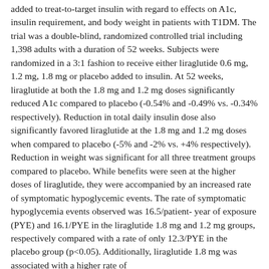added to treat-to-target insulin with regard to effects on A1c, insulin requirement, and body weight in patients with T1DM. The trial was a double-blind, randomized controlled trial including 1,398 adults with a duration of 52 weeks. Subjects were randomized in a 3:1 fashion to receive either liraglutide 0.6 mg, 1.2 mg, 1.8 mg or placebo added to insulin. At 52 weeks, liraglutide at both the 1.8 mg and 1.2 mg doses significantly reduced A1c compared to placebo (-0.54% and -0.49% vs. -0.34% respectively). Reduction in total daily insulin dose also significantly favored liraglutide at the 1.8 mg and 1.2 mg doses when compared to placebo (-5% and -2% vs. +4% respectively). Reduction in weight was significant for all three treatment groups compared to placebo. While benefits were seen at the higher doses of liraglutide, they were accompanied by an increased rate of symptomatic hypoglycemic events. The rate of symptomatic hypoglycemia events observed was 16.5/patient-year of exposure (PYE) and 16.1/PYE in the liraglutide 1.8 mg and 1.2 mg groups, respectively compared with a rate of only 12.3/PYE in the placebo group (p<0.05). Additionally, liraglutide 1.8 mg was associated with a higher rate of